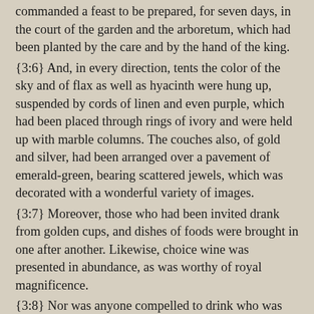commanded a feast to be prepared, for seven days, in the court of the garden and the arboretum, which had been planted by the care and by the hand of the king. {3:6} And, in every direction, tents the color of the sky and of flax as well as hyacinth were hung up, suspended by cords of linen and even purple, which had been placed through rings of ivory and were held up with marble columns. The couches also, of gold and silver, had been arranged over a pavement of emerald-green, bearing scattered jewels, which was decorated with a wonderful variety of images. {3:7} Moreover, those who had been invited drank from golden cups, and dishes of foods were brought in one after another. Likewise, choice wine was presented in abundance, as was worthy of royal magnificence. {3:8} Nor was anyone compelled to drink who was unwilling, but, just as the king had appointed, one of his nobles was set over each table, so that each one might select what he wanted.